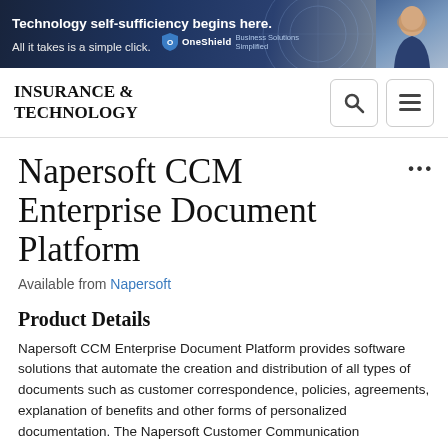[Figure (other): OneShield advertisement banner: 'Technology self-sufficiency begins here. All it takes is a simple click.' with OneShield Business Solutions Simplified logo and a woman in background.]
INSURANCE & TECHNOLOGY
Napersoft CCM Enterprise Document Platform
Available from Napersoft
Product Details
Napersoft CCM Enterprise Document Platform provides software solutions that automate the creation and distribution of all types of documents such as customer correspondence, policies, agreements, explanation of benefits and other forms of personalized documentation. The Napersoft Customer Communication Management (Naperf...